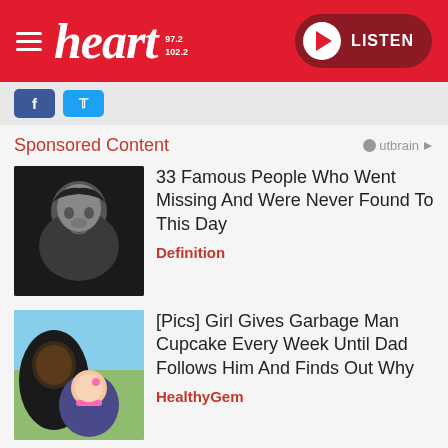[Figure (screenshot): Heart FM website header with red background, hamburger menu, heart logo with 97.2/102.2 frequencies, and LISTEN button]
[Figure (screenshot): Social media buttons bar with Facebook and Twitter icons]
Sponsored Content
[Figure (photo): Black and white photo of a young person with dark hair]
33 Famous People Who Went Missing And Were Never Found To This Day
Definition
[Figure (photo): Color photo of a man with sunglasses and a young girl with a pink bow]
[Pics] Girl Gives Garbage Man Cupcake Every Week Until Dad Follows Him And Finds Out Why
HealthyGem